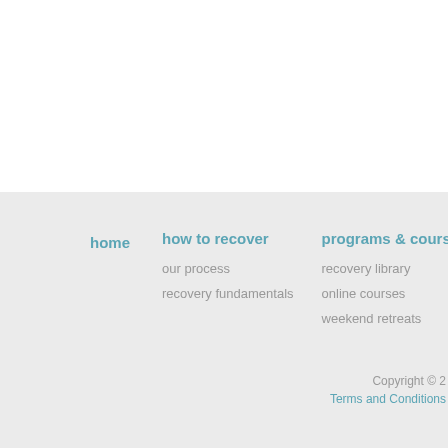home | how to recover | our process | recovery fundamentals | programs & courses | recovery library | online courses | weekend retreats
home
how to recover
our process
recovery fundamentals
programs & courses
recovery library
online courses
weekend retreats
Copyright © 2
Terms and Conditions